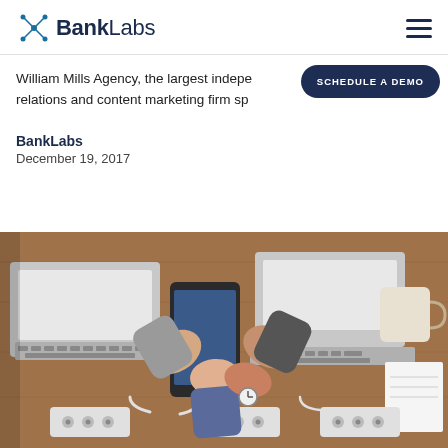BankLabs
William Mills Agency, the largest independent public relations and content marketing firm sp...
SCHEDULE A DEMO
BankLabs
December 19, 2017
[Figure (photo): Overhead view of multiple people fist-bumping over a desk with laptops, smartphones, cables, and office supplies on a wooden surface.]